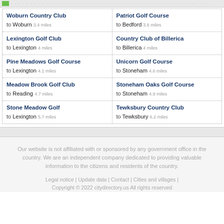Woburn Country Club to Woburn 3.4 miles
Patriot Golf Course to Bedford 3.6 miles
Lexington Golf Club to Lexington 4 miles
Country Club of Billerica to Billerica 4 miles
Pine Meadows Golf Course to Lexington 4.1 miles
Unicorn Golf Course to Stoneham 4.6 miles
Meadow Brook Golf Club to Reading 4.7 miles
Stoneham Oaks Golf Course to Stoneham 4.9 miles
Stone Meadow Golf to Lexington 5.7 miles
Tewksbury Country Club to Tewksbury 6.2 miles
Our website is not affiliated with or sponsored by any government office in the country. We are an independent company dedicated to providing valuable information to the citizens and residents of the country.
Legal notice | Update data | Contact | Cities and villages | Copyright © 2022 citydirectory.us All rights reserved